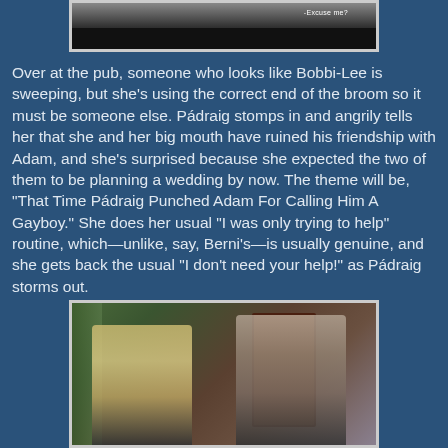[Figure (screenshot): Top partial screenshot of a TV show scene with subtitle text '-Excuse me?' visible, dark background below]
Over at the pub, someone who looks like Bobbi-Lee is sweeping, but she's using the correct end of the broom so it must be someone else. Pádraig stomps in and angrily tells her that she and her big mouth have ruined his friendship with Adam, and she's surprised because she expected the two of them to be planning a wedding by now. The theme will be, “That Time Pádraig Punched Adam For Calling Him A Gayboy.” She does her usual “I was only trying to help” routine, which—unlike, say, Berni’s—is usually genuine, and she gets back the usual “I don’t need your help!” as Pádraig storms out.
[Figure (screenshot): Bottom screenshot of a TV show scene showing a blonde woman and a man facing each other indoors, with a door and curtain visible in background]